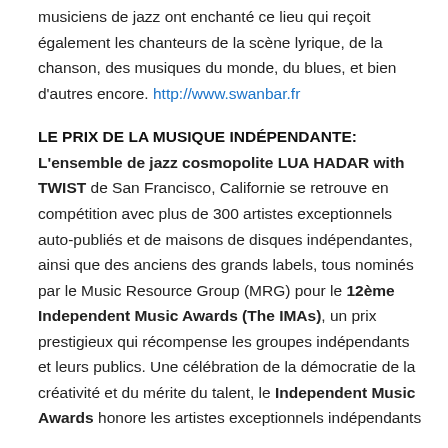musiciens de jazz ont enchanté ce lieu qui reçoit également les chanteurs de la scène lyrique, de la chanson, des musiques du monde, du blues, et bien d'autres encore. http://www.swanbar.fr
LE PRIX DE LA MUSIQUE INDÉPENDANTE:
L'ensemble de jazz cosmopolite LUA HADAR with TWIST de San Francisco, Californie se retrouve en compétition avec plus de 300 artistes exceptionnels auto-publiés et de maisons de disques indépendantes, ainsi que des anciens des grands labels, tous nominés par le Music Resource Group (MRG) pour le 12ème Independent Music Awards (The IMAs), un prix prestigieux qui récompense les groupes indépendants et leurs publics. Une célébration de la démocratie de la créativité et du mérite du talent, le Independent Music Awards honore les artistes exceptionnels indépendants